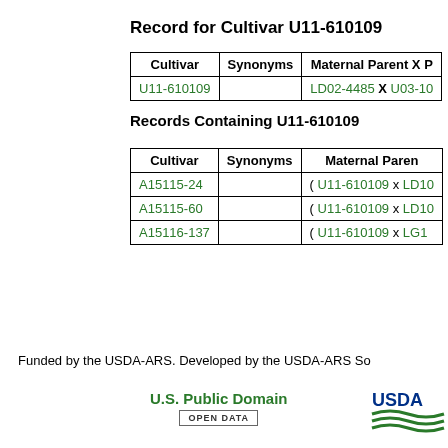Record for Cultivar U11-610109
| Cultivar | Synonyms | Maternal Parent X P |
| --- | --- | --- |
| U11-610109 |  | LD02-4485 X U03-10... |
Records Containing U11-610109
| Cultivar | Synonyms | Maternal Paren |
| --- | --- | --- |
| A15115-24 |  | ( U11-610109 x LD10... |
| A15115-60 |  | ( U11-610109 x LD10... |
| A15116-137 |  | ( U11-610109 x LG1... |
Funded by the USDA-ARS. Developed by the USDA-ARS So...
U.S. Public Domain
[Figure (logo): USDA logo with green wave emblem]